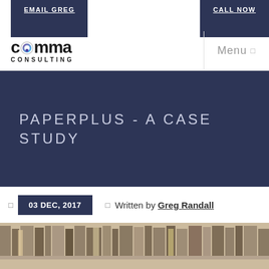EMAIL GREG | CALL NOW
[Figure (logo): Comma Consulting logo with stylized 'comma' text and circular icon, subtitle CONSULTING]
Menu
PAPERPLUS - A CASE STUDY
03 DEC, 2017  Written by Greg Randall
[Figure (photo): Bookshelf photo showing books in a library/bookstore setting]